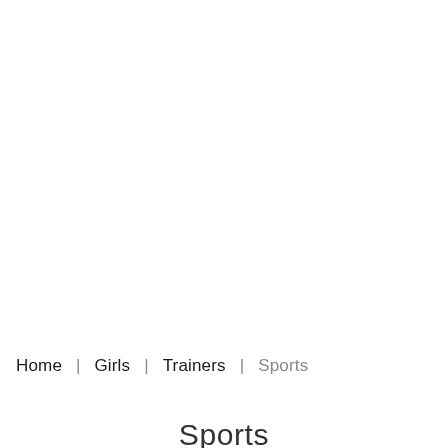Home | Girls | Trainers | Sports
Sports